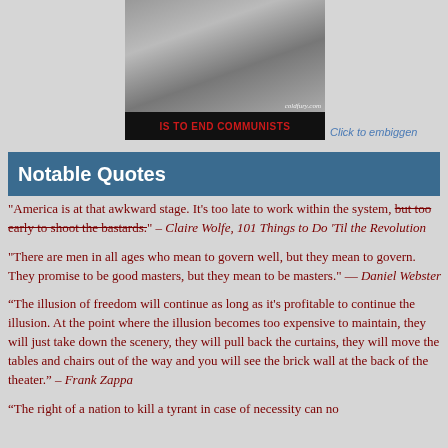[Figure (photo): Black and white photo of people, with coldfury.com watermark, and a black banner below reading IS TO END COMMUNISTS in red bold text]
Click to embiggen
Notable Quotes
"America is at that awkward stage. It's too late to work within the system, but too early to shoot the bastards." – Claire Wolfe, 101 Things to Do 'Til the Revolution
"There are men in all ages who mean to govern well, but they mean to govern. They promise to be good masters, but they mean to be masters." — Daniel Webster
“The illusion of freedom will continue as long as it's profitable to continue the illusion. At the point where the illusion becomes too expensive to maintain, they will just take down the scenery, they will pull back the curtains, they will move the tables and chairs out of the way and you will see the brick wall at the back of the theater.” – Frank Zappa
"The right of a nation to kill a tyrant in case of necessity can no